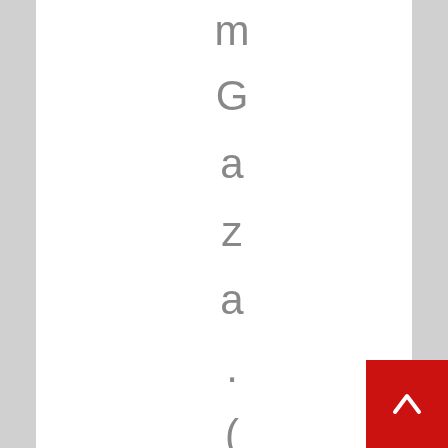m Gaza. (Photo: Ssdero
[Figure (other): Red scroll-to-top button with white upward chevron arrow in bottom right corner]